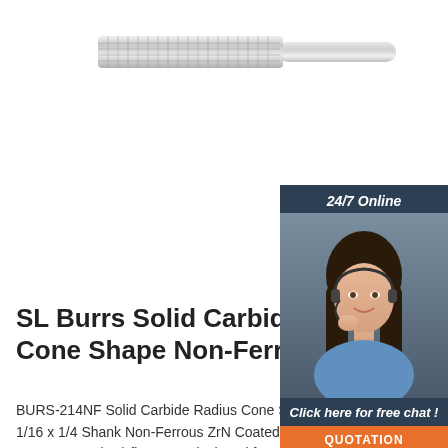[Figure (photo): Solid carbide burr tool — cylindrical rotary burr bit with crosscut teeth pattern on the cutting head and smooth shank]
[Figure (illustration): 24/7 online chat widget with photo of smiling female customer service representative wearing headset, dark blue background, 'Click here for free chat!' text, and orange QUOTATION button]
SL Burrs Solid Carbide Radius Cone Shape Non-Ferrous
BURS-214NF Solid Carbide Radius Cone Shape 3/8 Dia x 1-1/16 x 1/4 Shank Non-Ferrous ZrN Coated SL Burr Bit. The Non-Ferrous (NF) flutes are designed for cutting all non-ferrous and non-metallic workpieces such as aluminum, zinc,
[Figure (logo): TOP badge logo with orange dot triangle above bold orange and white TOP text]